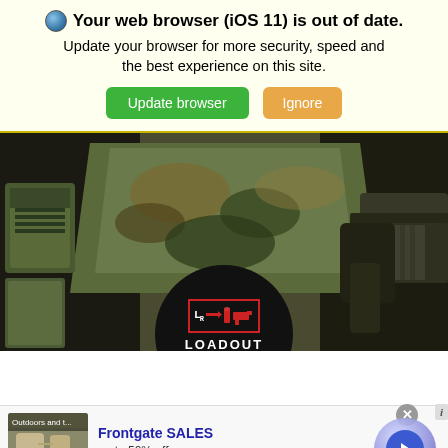Your web browser (iOS 11) is out of date. Update your browser for more security, speed and the best experience on this site.
[Figure (screenshot): Browser update buttons: 'Update browser' (green) and 'Ignore' (orange)]
[Figure (photo): Tactical military gear including multicam vest, pouches, and rifle on dark surface, with Loadout Room logo circle overlay]
[Figure (screenshot): Advertisement for Frontgate SALES - up to 50% off, frontgate.com, with outdoor furniture image and navigation arrow]